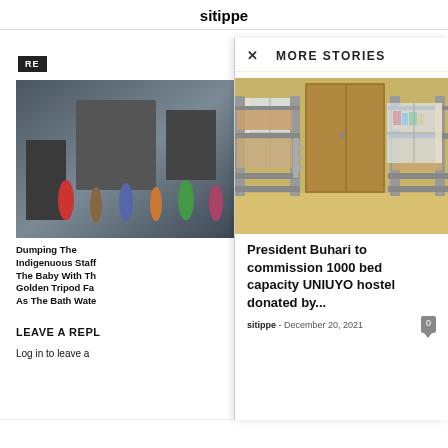sitippe
RE...
[Figure (photo): People gathered outside a building with vehicles, background news article thumbnail]
Dumping The Indigenuous Staff The Baby With Th Golden Tripod Fa As The Bath Wate
LEAVE A REPL
Log in to leave a
MORE STORIES
[Figure (photo): Interior room with metal bunk beds against a wooden wardrobe wall, UNIUYO hostel]
President Buhari to commission 1000 bed capacity UNIUYO hostel donated by...
sitippe - December 20, 2021